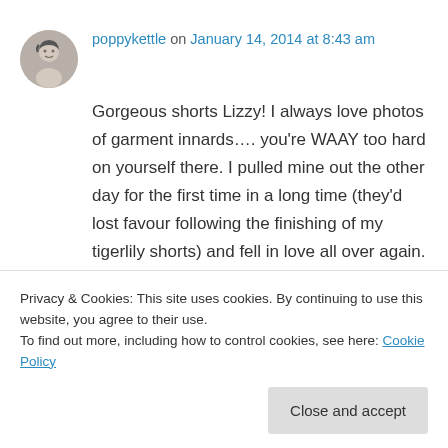[Figure (photo): Circular avatar photo of a person (poppykettle)]
poppykettle on January 14, 2014 at 8:43 am
Gorgeous shorts Lizzy! I always love photos of garment innards…. you're WAAY too hard on yourself there. I pulled mine out the other day for the first time in a long time (they'd lost favour following the finishing of my tigerlily shorts) and fell in love all over again. I love that you've done your pockets in a lining fabric though – wish I'd
Privacy & Cookies: This site uses cookies. By continuing to use this website, you agree to their use.
To find out more, including how to control cookies, see here: Cookie Policy
Close and accept